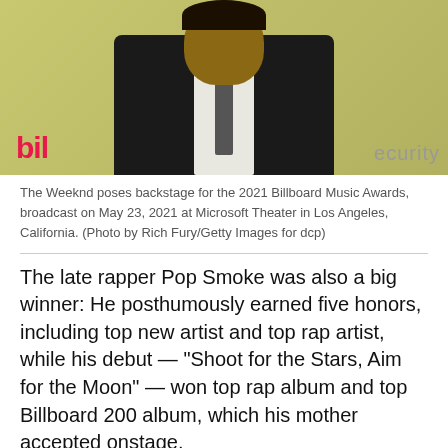[Figure (photo): The Weeknd poses backstage at the 2021 Billboard Music Awards, wearing a black suit and tie against a yellow-green background with Billboard and security signage visible.]
The Weeknd poses backstage for the 2021 Billboard Music Awards, broadcast on May 23, 2021 at Microsoft Theater in Los Angeles, California. (Photo by Rich Fury/Getty Images for dcp)
The late rapper Pop Smoke was also a big winner: He posthumously earned five honors, including top new artist and top rap artist, while his debut — "Shoot for the Stars, Aim for the Moon" — won top rap album and top Billboard 200 album, which his mother accepted onstage.
"Thank you to the fans for honoring the life and spirit of my son, so much that he continues to manifest as if